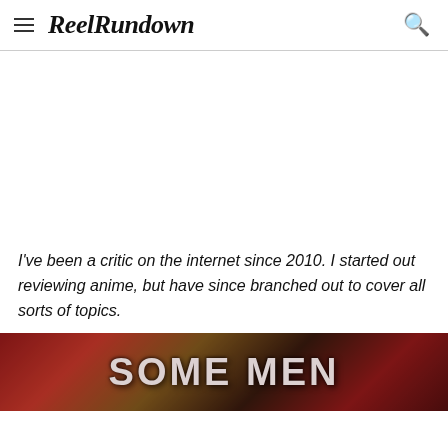ReelRundown
I've been a critic on the internet since 2010. I started out reviewing anime, but have since branched out to cover all sorts of topics.
[Figure (photo): Partial view of a movie or show title card showing large bold white text reading 'SOME MEN' on a dark dramatic background with red and brown tones.]